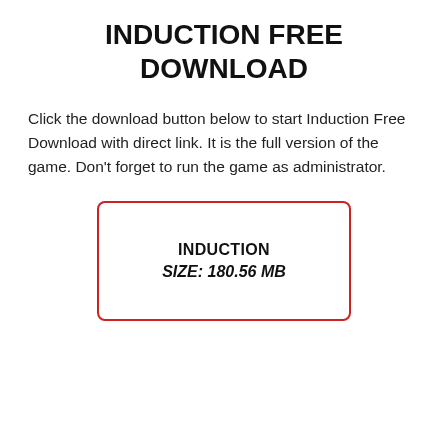INDUCTION FREE DOWNLOAD
Click the download button below to start Induction Free Download with direct link. It is the full version of the game. Don’t forget to run the game as administrator.
[Figure (other): Download button box with red border containing game name INDUCTION and size SIZE: 180.56 MB]